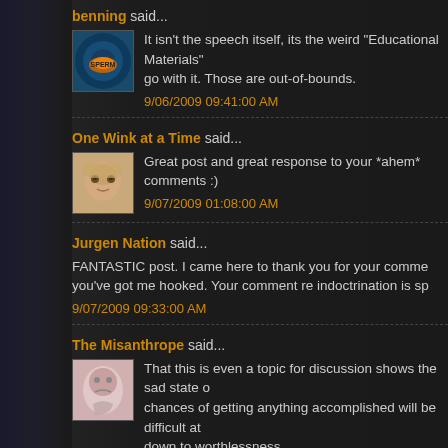benning said...
It isn't the speech itself, its the weird "Educational Materials" go with it. Those are out-of-bounds.
9/06/2009 09:41:00 AM
One Wink at a Time said...
Great post and great response to your *ahem* comments :)
9/07/2009 01:08:00 AM
Jurgen Nation said...
FANTASTIC post. I came here to thank you for your comme you've got me hooked. Your comment re indoctrination is sp
9/07/2009 09:33:00 AM
The Misanthrope said...
That this is even a topic for discussion shows the sad state chances of getting anything accomplished will be difficult at down to worthlessness.